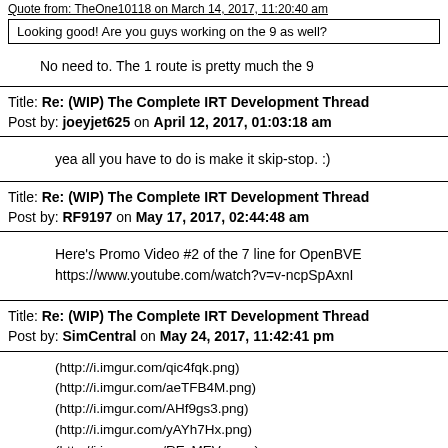Quote from: TheOne10118 on March 14, 2017, 11:20:40 am
Looking good! Are you guys working on the 9 as well?
No need to. The 1 route is pretty much the 9
Title: Re: (WIP) The Complete IRT Development Thread
Post by: joeyjet625 on April 12, 2017, 01:03:18 am
yea all you have to do is make it skip-stop. :)
Title: Re: (WIP) The Complete IRT Development Thread
Post by: RF9197 on May 17, 2017, 02:44:48 am
Here's Promo Video #2 of the 7 line for OpenBVE
https://www.youtube.com/watch?v=v-ncpSpAxnI
Title: Re: (WIP) The Complete IRT Development Thread
Post by: SimCentral on May 24, 2017, 11:42:41 pm
(http://i.imgur.com/qic4fqk.png)
(http://i.imgur.com/aeTFB4M.png)
(http://i.imgur.com/AHf9gs3.png)
(http://i.imgur.com/yAYh7Hx.png)
(http://i.imgur.com/RExMEVg.png)
(http://i.imgur.com/jlozLwp.png)
(http://i.imgur.com/YDBWSAd.png)